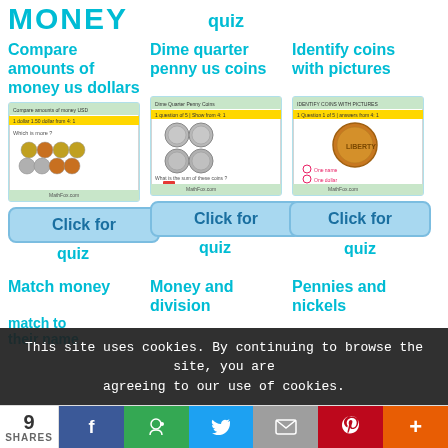MONEY
quiz
Compare amounts of money us dollars
[Figure (screenshot): Screenshot of a money comparison quiz with coins]
Click for
quiz
Dime quarter penny us coins
[Figure (screenshot): Screenshot of a dime quarter penny coins quiz]
Click for
quiz
Identify coins with pictures
[Figure (screenshot): Screenshot of identify coins with pictures quiz showing a penny]
Click for
quiz
Match money
match to their name
Money and division
Pennies and nickels
This site uses cookies. By continuing to browse the site, you are agreeing to our use of cookies.
9 SHARES
[Figure (infographic): Social sharing bar with Facebook, Google+, Twitter, Email, Pinterest, and plus icons]